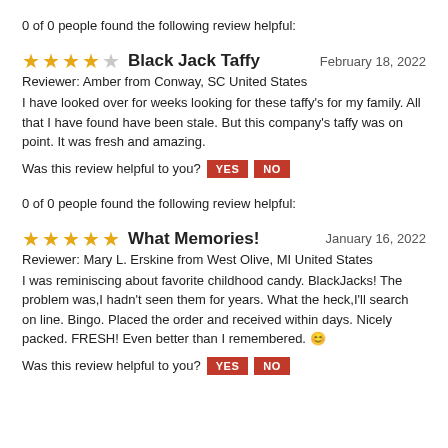0 of 0 people found the following review helpful:
★★★★☆ Black Jack Taffy — February 18, 2022
Reviewer: Amber from Conway, SC United States
I have looked over for weeks looking for these taffy's for my family. All that I have found have been stale. But this company's taffy was on point. It was fresh and amazing.
Was this review helpful to you? YES NO
0 of 0 people found the following review helpful:
★★★★★ What Memories! — January 16, 2022
Reviewer: Mary L. Erskine from West Olive, MI United States
I was reminiscing about favorite childhood candy. BlackJacks! The problem was,I hadn't seen them for years. What the heck,I'll search on line. Bingo. Placed the order and received within days. Nicely packed. FRESH! Even better than I remembered. 😊
Was this review helpful to you? YES NO